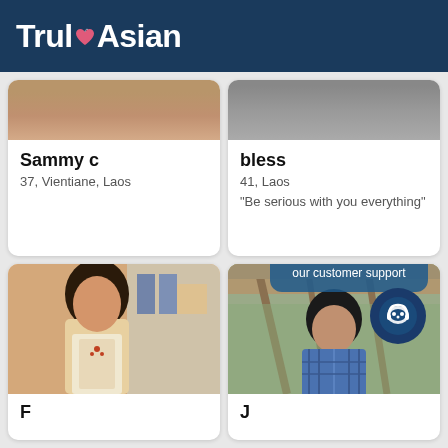TrulyAsian
[Figure (photo): Top cropped profile photo of Sammy c]
Sammy c
37, Vientiane, Laos
[Figure (photo): Top cropped profile photo of bless]
bless
41, Laos
"Be serious with you everything"
[Figure (photo): Full profile photo of a woman in traditional dress at a shop]
F...
[Figure (photo): Profile photo of a man in blue plaid shirt indoors]
Need Help? Chat with our customer support
J...